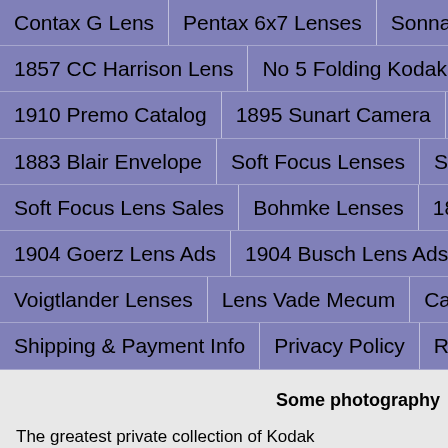Contax G Lens | Pentax 6x7 Lenses | Sonnar Lens | Petzv...
1857 CC Harrison Lens | No 5 Folding Kodak | ROC Univer...
1910 Premo Catalog | 1895 Sunart Camera | 1890 Lens Ca...
1883 Blair Envelope | Soft Focus Lenses | Soft Focus Lense...
Soft Focus Lens Sales | Bohmke Lenses | 1871 Camera Ca...
1904 Goerz Lens Ads | 1904 Busch Lens Ads | Photographe...
Voigtlander Lenses | Lens Vade Mecum | Camera Books
Shipping & Payment Info | Privacy Policy | Return Policy | S...
Some photography
The greatest private collection of Kodak photographica.  http://www...
Antique Wood Cameras.  Beautiful site with rare cameras.  http://w...